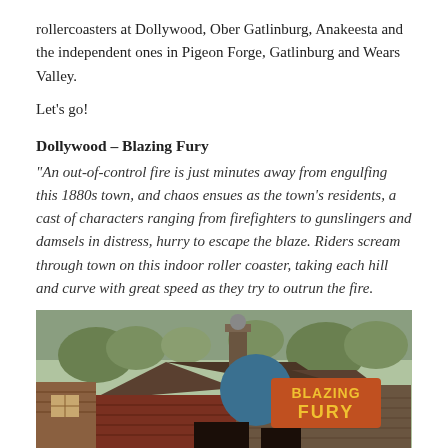rollercoasters at Dollywood, Ober Gatlinburg, Anakeesta and the independent ones in Pigeon Forge, Gatlinburg and Wears Valley.
Let’s go!
Dollywood – Blazing Fury
“An out-of-control fire is just minutes away from engulfing this 1880s town, and chaos ensues as the town’s residents, a cast of characters ranging from firefighters to gunslingers and damsels in distress, hurry to escape the blaze. Riders scream through town on this indoor roller coaster, taking each hill and curve with great speed as they try to outrun the fire.
[Figure (photo): Exterior photo of the Blazing Fury indoor roller coaster entrance at Dollywood, showing a rustic wooden building facade with the colorful Blazing Fury sign and 'ENTRANCE' text below.]